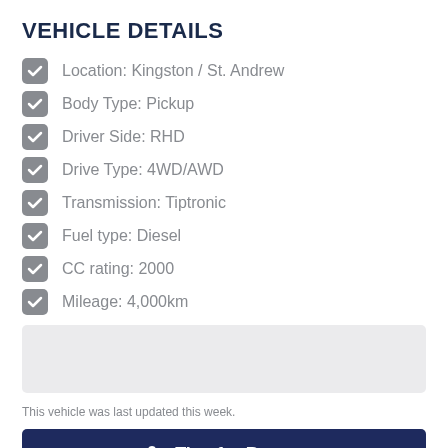VEHICLE DETAILS
Location: Kingston / St. Andrew
Body Type: Pickup
Driver Side: RHD
Drive Type: 4WD/AWD
Transmission: Tiptronic
Fuel type: Diesel
CC rating: 2000
Mileage: 4,000km
This vehicle was last updated this week.
Tips for Buyers